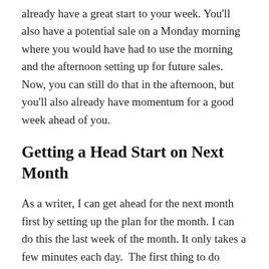already have a great start to your week. You'll also have a potential sale on a Monday morning where you would have had to use the morning and the afternoon setting up for future sales. Now, you can still do that in the afternoon, but you'll also already have momentum for a good week ahead of you.
Getting a Head Start on Next Month
As a writer, I can get ahead for the next month first by setting up the plan for the month. I can do this the last week of the month. It only takes a few minutes each day. The first thing to do during the week is to revisit my goals and determine what I have accomplished and what I want to accomplish toward my master goals that month. Once that's done, I can assign a specific project for each week